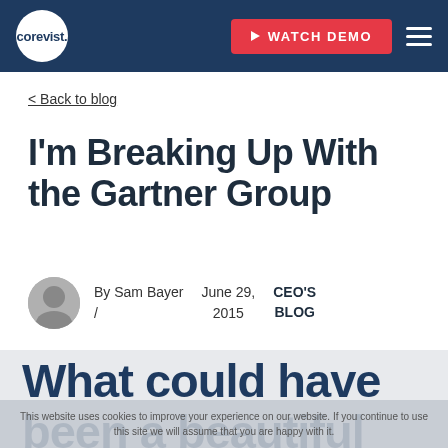corevist. WATCH DEMO
< Back to blog
I'm Breaking Up With the Gartner Group
By Sam Bayer / June 29, 2015 CEO'S BLOG
What could have been a beautiful friendship...
This website uses cookies to improve your experience on our website. If you continue to use this site we will assume that you are happy with it.